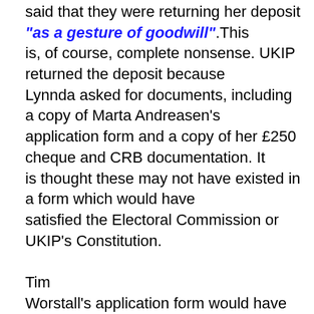said that they were returning her deposit "as a gesture of goodwill".This is, of course, complete nonsense. UKIP returned the deposit because Lynnda asked for documents, including a copy of Marta Andreasen's application form and a copy of her £250 cheque and CRB documentation. It is thought these may not have existed in a form which would have satisfied the Electoral Commission or UKIP's Constitution.

Tim Worstall's application form would have proved interesting reading since he was a tax exile living in Portugal and, therefore, could not be a